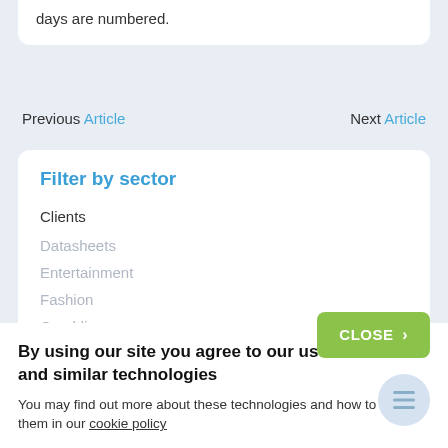days are numbered.
Previous Article    Next Article
Filter by sector
Clients
Datasheets
Entertainment
Fashion
Gambling
Leisure
Partners
Retail
By using our site you agree to our use of cookies and similar technologies
You may find out more about these technologies and how to disable them in our cookie policy